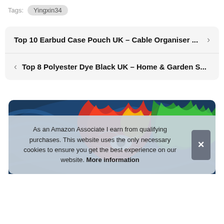Tags: Yingxin34
Top 10 Earbud Case Pouch UK – Cable Organiser ...
Top 8 Polyester Dye Black UK – Home & Garden S...
[Figure (illustration): Colorful psychedelic swirling abstract art with eye motif in blues, reds, greens and yellows]
As an Amazon Associate I earn from qualifying purchases. This website uses the only necessary cookies to ensure you get the best experience on our website. More information